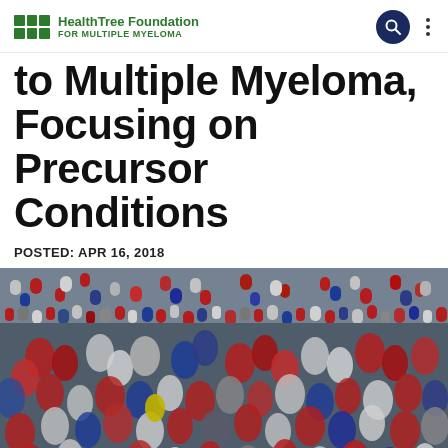HealthTree Foundation FOR MULTIPLE MYELOMA
to Multiple Myeloma, Focusing on Precursor Conditions
POSTED: APR 16, 2018
[Figure (photo): Aerial view of a large crowd of people packed together, wearing colorful clothing including red, white, and blue.]